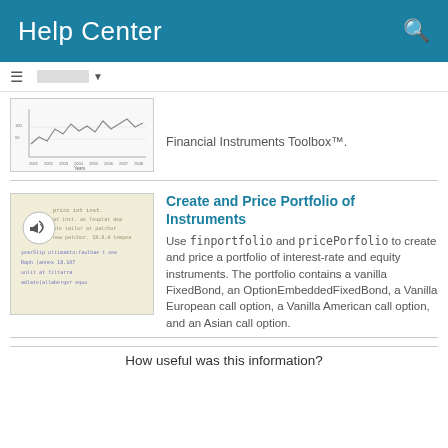Help Center
[Figure (screenshot): Partial line chart thumbnail showing stock/financial data over years]
Financial Instruments Toolbox™.
[Figure (screenshot): Thumbnail showing MATLAB script/code with text on yellowish background and a megaphone/speaker icon overlay]
Create and Price Portfolio of Instruments
Use finportfolio and pricePorfolio to create and price a portfolio of interest-rate and equity instruments. The portfolio contains a vanilla FixedBond, an OptionEmbeddedFixedBond, a Vanilla European call option, a Vanilla American call option, and an Asian call option.
How useful was this information?